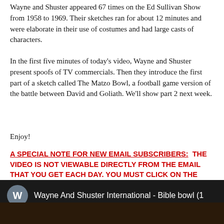Wayne and Shuster appeared 67 times on the Ed Sullivan Show from 1958 to 1969. Their sketches ran for about 12 minutes and were elaborate in their use of costumes and had large casts of characters.
In the first five minutes of today's video, Wayne and Shuster present spoofs of TV commercials. Then they introduce the first part of a sketch called The Matzo Bowl, a football game version of the battle between David and Goliath. We'll show part 2 next week.
Enjoy!
A SPECIAL NOTE FOR NEW EMAIL SUBSCRIBERS: THE VIDEO IS NOT VIEWABLE DIRECTLY FROM THE EMAIL THAT YOU GET EACH DAY. YOU MUST CLICK ON THE TITLE AT THE TOP OF THE EMAIL TO REACH THE JEWISH HUMOR CENTRAL WEBSITE, FROM WHICH YOU CLICK ON THE PLAY BUTTON IN THE VIDEO IMAGE TO START THE VIDEO.
[Figure (screenshot): YouTube video thumbnail showing Wayne And Shuster International - Bible bowl (1) with a dark background video frame and channel avatar with letter W]